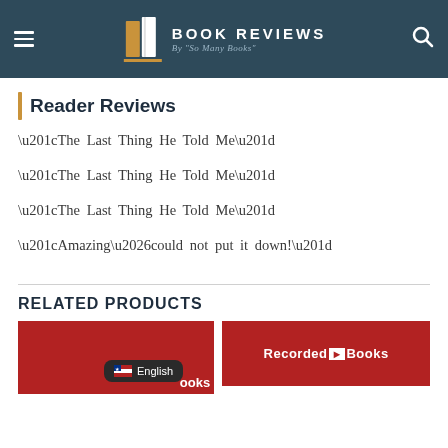BOOK REVIEWS By "So Many Books"
Reader Reviews
“The Last Thing He Told Me”
“The Last Thing He Told Me”
“The Last Thing He Told Me”
“Amazing…could not put it down!”
RELATED PRODUCTS
[Figure (screenshot): Two product thumbnail images in a row: left shows a red banner with partial text 'ooks', right shows a red banner with 'Recorded Books' logo. A dark English language pill overlay appears at the bottom.]